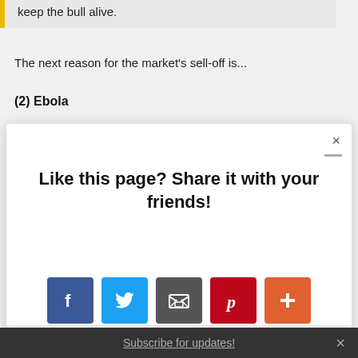keep the bull alive.
The next reason for the market's sell-off is...
(2) Ebola
[Figure (screenshot): Modal popup with text 'Like this page? Share it with your friends!' and social sharing buttons: Facebook, Twitter, Email, Pinterest, and a plus button. AddThis branding in bottom right.]
Subscribe for updates!